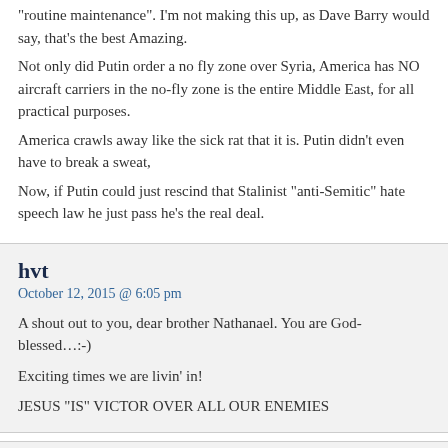“routine maintenance”. I’m not making this up, as Dave Barry would say, that’s the best Amazing.
Not only did Putin order a no fly zone over Syria, America has NO aircraft carriers in the no-fly zone is the entire Middle East, for all practical purposes.
America crawls away like the sick rat that it is. Putin didn’t even have to break a sweat,
Now, if Putin could just rescind that Stalinist “anti-Semitic” hate speech law he just pass he’s the real deal.
hvt
October 12, 2015 @ 6:05 pm
A shout out to you, dear brother Nathanael. You are God-blessed…:-)
Exciting times we are livin’ in!
JESUS “IS” VICTOR OVER ALL OUR ENEMIES
NIQ
October 12, 2015 @ 6:41 pm
@Curtis